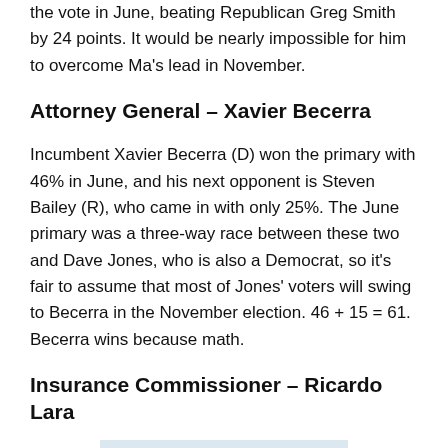the vote in June, beating Republican Greg Smith by 24 points. It would be nearly impossible for him to overcome Ma's lead in November.
Attorney General – Xavier Becerra
Incumbent Xavier Becerra (D) won the primary with 46% in June, and his next opponent is Steven Bailey (R), who came in with only 25%. The June primary was a three-way race between these two and Dave Jones, who is also a Democrat, so it's fair to assume that most of Jones' voters will swing to Becerra in the November election. 46 + 15 = 61. Becerra wins because math.
Insurance Commissioner – Ricardo Lara
[Figure (photo): Partial photo of city buildings and trees at the bottom of the page]